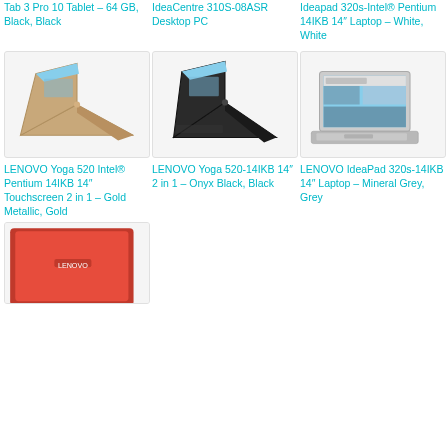Tab 3 Pro 10 Tablet – 64 GB, Black, Black
IdeaCentre 310S-08ASR Desktop PC
Ideapad 320s-Intel® Pentium 14IKB 14″ Laptop – White, White
[Figure (photo): LENOVO Yoga 520 gold convertible laptop in tent mode]
[Figure (photo): LENOVO Yoga 520 black convertible laptop in tent mode]
[Figure (photo): LENOVO IdeaPad 320s mineral grey laptop open]
LENOVO Yoga 520 Intel® Pentium 14IKB 14″ Touchscreen 2 in 1 – Gold Metallic, Gold
LENOVO Yoga 520-14IKB 14″ 2 in 1 – Onyx Black, Black
LENOVO IdeaPad 320s-14IKB 14″ Laptop – Mineral Grey, Grey
[Figure (photo): Partial view of a red Lenovo laptop (bottom of page, cut off)]